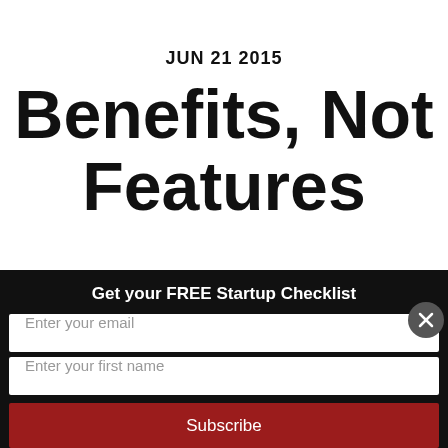JUN 21 2015
Benefits, Not Features
Get your FREE Startup Checklist
Enter your email
Enter your first name
Subscribe